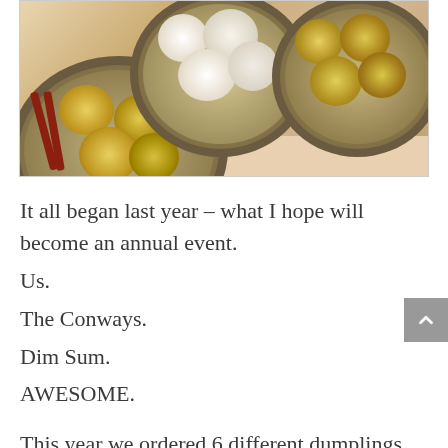[Figure (photo): Photo of dim sum dishes in metal steamer baskets — showing dumplings and siu mai]
It all began last year – what I hope will become an annual event.
Us.
The Conways.
Dim Sum.
AWESOME.

This year we ordered 6 different dumplings but 2 of one order soooo technically it was seven.  I might've eaten more than 7; in the post